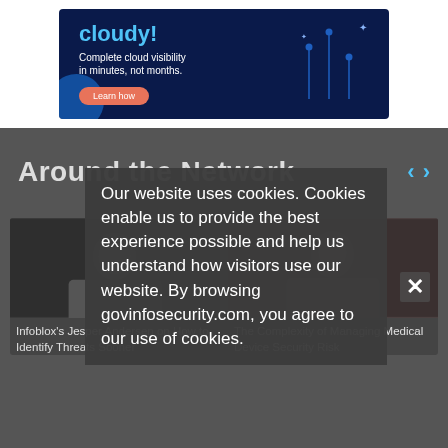[Figure (screenshot): Advertisement banner with dark blue background showing 'Complete cloud visibility in minutes, not months.' with a Learn how button and graphic elements]
Around the Network
[Figure (photo): Photo of Infoblox's Jesper Andersen]
Infoblox's Jesper Andersen on How to Identify Threats Sooner
[Figure (photo): Photo of person related to Medical Device Security Risk]
The Complexity of Managing Medical Device Security Risk
Our website uses cookies. Cookies enable us to provide the best experience possible and help us understand how visitors use our website. By browsing govinfosecurity.com, you agree to our use of cookies.